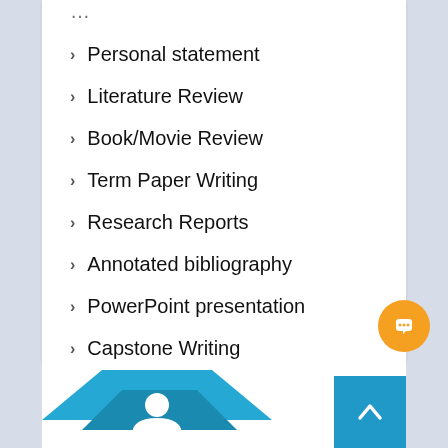Personal statement
Literature Review
Book/Movie Review
Term Paper Writing
Research Reports
Annotated bibliography
PowerPoint presentation
Capstone Writing
Reaction Paper Writing
All Academic Papers
[Figure (logo): Blue house/rooftop logo icon at bottom of page]
[Figure (other): Orange circular chat button on right side]